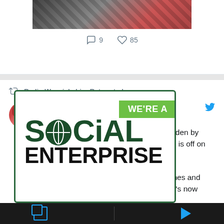[Figure (photo): Top portion of a tweet card showing a photo of two people, partially cropped at the top]
9   85
Radio Warwickshire Retweeted
Tamsin Rosewell ... @autu... · Aug 19
🎨ART IN BOOKSHOPS!🎨
The original painting for The Billow Maiden by @James_D_Dixon from @guppybooks is off on another adventure!

She's been in the excellent care of James and Rachel at @WaterstonesRose  and she's now
[Figure (logo): We're a Social Enterprise badge/logo with green background and dark green text]